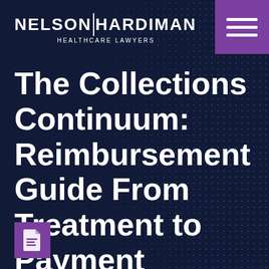[Figure (logo): Nelson Hardiman Healthcare Lawyers logo in white text on dark navy background]
[Figure (other): Purple hamburger menu button in top-right corner with three white horizontal lines]
The Collections Continuum: Reimbursement Guide From Treatment to Payment
[Figure (other): Purple square with a PDF file icon (document with fold corner)]